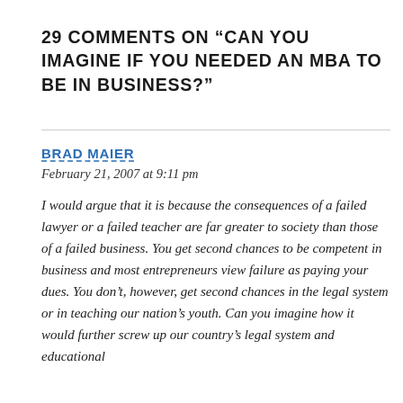29 COMMENTS ON “CAN YOU IMAGINE IF YOU NEEDED AN MBA TO BE IN BUSINESS?”
BRAD MAIER
February 21, 2007 at 9:11 pm
I would argue that it is because the consequences of a failed lawyer or a failed teacher are far greater to society than those of a failed business. You get second chances to be competent in business and most entrepreneurs view failure as paying your dues. You don’t, however, get second chances in the legal system or in teaching our nation’s youth. Can you imagine how it would further screw up our country’s legal system and educational